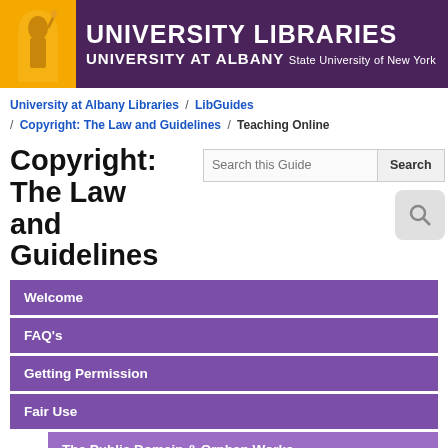UNIVERSITY LIBRARIES | UNIVERSITY AT ALBANY State University of New York
University at Albany Libraries / LibGuides / Copyright: The Law and Guidelines / Teaching Online
Copyright: The Law and Guidelines
Welcome
FAQ's
Getting Permission
Fair Use
The Public Domain & Orphan Works
Teaching Guidelines
Teaching in the Classroom